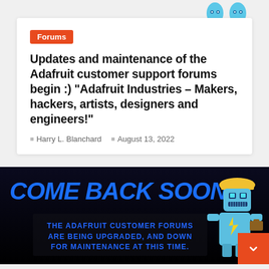[Figure (illustration): Two blue Adafruit water-drop mascot icons in top right corner]
Forums
Updates and maintenance of the Adafruit customer support forums begin :) “Adafruit Industries – Makers, hackers, artists, designers and engineers!”
Harry L. Blanchard   August 13, 2022
[Figure (illustration): Adafruit Forums maintenance banner reading COME BACK SOON! with a blue robot mascot wearing a hard hat. Text below: THE ADAFRUIT CUSTOMER FORUMS ARE BEING UPGRADED, AND DOWN FOR MAINTENANCE AT THIS TIME.]